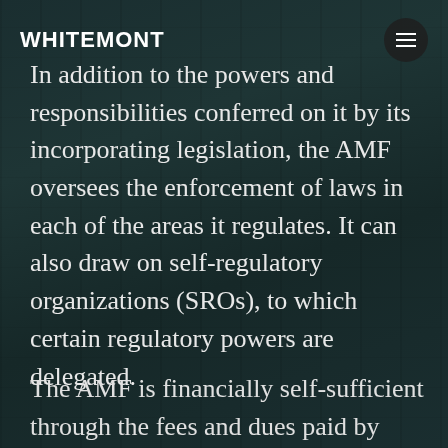WHITEMONT
In addition to the powers and responsibilities conferred on it by its incorporating legislation, the AMF oversees the enforcement of laws in each of the areas it regulates. It can also draw on self-regulatory organizations (SROs), to which certain regulatory powers are delegated.
The AMF is financially self-sufficient through the fees and dues paid by